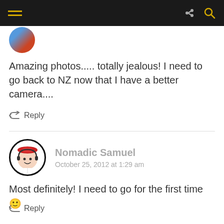Navigation bar with hamburger menu, share icon, and search icon
[Figure (photo): Partial avatar of a user (colorful image, cropped circular)]
Amazing photos..... totally jealous! I need to go back to NZ now that I have a better camera....
Reply
[Figure (illustration): Avatar of Nomadic Samuel - cartoon character with red hat, circular border]
Nomadic Samuel
October 25, 2012 at 1:29 am
Most definitely! I need to go for the first time 🙂
Reply